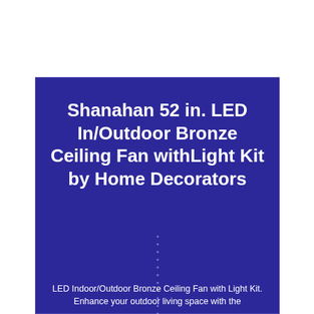Shanahan 52 in. LED In/Outdoor Bronze Ceiling Fan withLight Kit by Home Decorators
LED Indoor/Outdoor Bronze Ceiling Fan with Light Kit. Enhance your outdoor living space with the